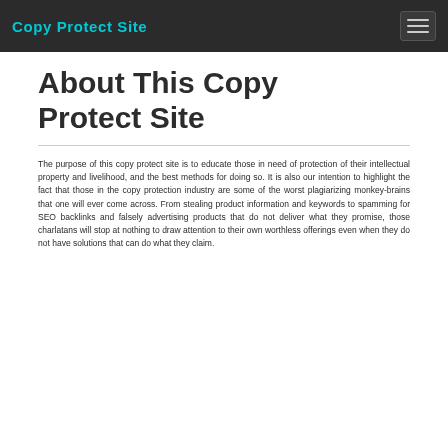Copy Protect Site
About This Copy Protect Site
The purpose of this copy protect site is to educate those in need of protection of their intellectual property and livelihood, and the best methods for doing so. It is also our intention to highlight the fact that those in the copy protection industry are some of the worst plagiarizing monkey-brains that one will ever come across. From stealing product information and keywords to spamming for SEO backlinks and falsely advertising products that do not deliver what they promise, those charlatans will stop at nothing to draw attention to their own worthless offerings even when they do not have solutions that can do what they claim.